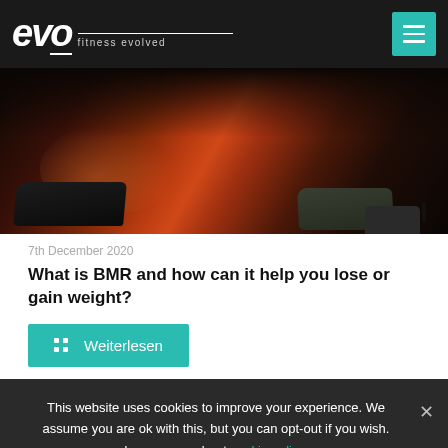evo fitness evolved
[Figure (photo): Dark gym photo showing legs and shoes near weight equipment]
7th December 2020
What is BMR and how can it help you lose or gain weight?
Weiterlesen
This website uses cookies to improve your experience. We assume you are ok with this, but you can opt-out if you wish. Learn more about cookie policy.
Okay, thank you.